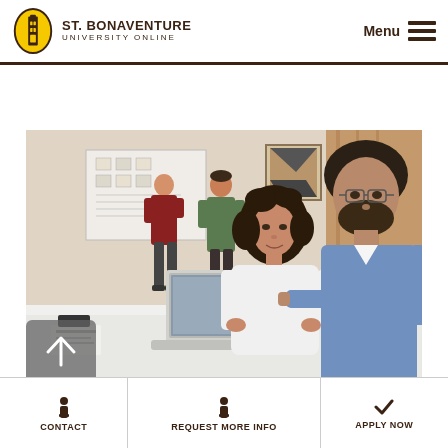St. Bonaventure University Online — Menu
[Figure (photo): Office scene with two people in foreground collaborating over a laptop at a table, man in blue shirt pointing at screen, woman in white blouse looking at him, two people in background standing near a whiteboard]
CONTACT | REQUEST MORE INFO | APPLY NOW